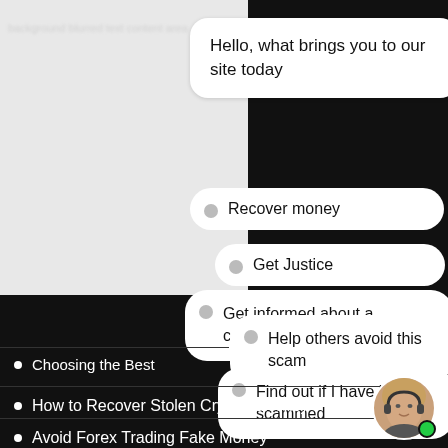[Figure (screenshot): Chat widget interface showing a greeting message and multiple choice options for why the user is visiting the site]
Hello, what brings you to our site today
Recover money
Get Justice
Get informed about a company or scam
Help others avoid this scam
Find out if I have been scammed
Choosing the Best
How to Recover Stolen Cryptocurrency
Avoid Forex Trading Fake Money